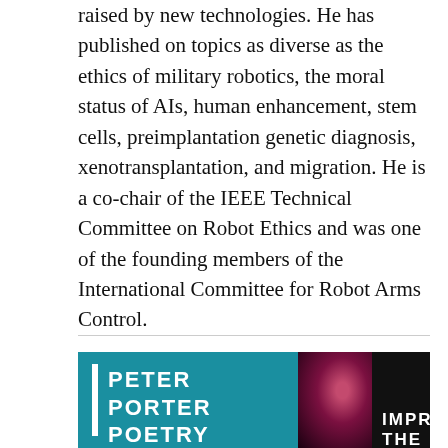raised by new technologies. He has published on topics as diverse as the ethics of military robotics, the moral status of AIs, human enhancement, stem cells, preimplantation genetic diagnosis, xenotransplantation, and migration. He is a co-chair of the IEEE Technical Committee on Robot Ethics and was one of the founding members of the International Committee for Robot Arms Control.
[Figure (photo): Two book covers side by side. Left: teal/blue cover with white vertical bar and bold white text reading PETER PORTER POETRY. Right: black cover with a red/pink abstract image and white bold text reading IMPROVE THE.]